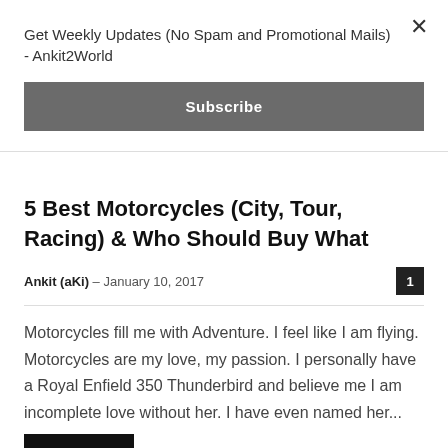Get Weekly Updates (No Spam and Promotional Mails) - Ankit2World
Subscribe
5 Best Motorcycles (City, Tour, Racing) & Who Should Buy What
Ankit (aKi) – January 10, 2017
Motorcycles fill me with Adventure. I feel like I am flying. Motorcycles are my love, my passion. I personally have a Royal Enfield 350 Thunderbird and believe me I am incomplete love without her. I have even named her...